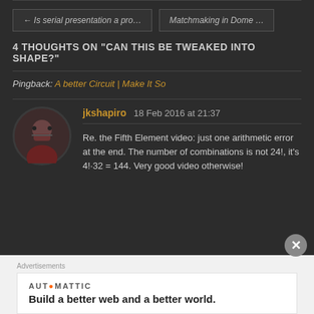← Is serial presentation a pro...
Matchmaking in Dome ...
4 THOUGHTS ON "CAN THIS BE TWEAKED INTO SHAPE?"
Pingback: A better Circuit | Make It So
jkshapiro 18 Feb 2016 at 21:37
Re. the Fifth Element video: just one arithmetic error at the end. The number of combinations is not 24!, it's 4!·32 = 144. Very good video otherwise!
Advertisements
AUT●MATTIC
Build a better web and a better world.